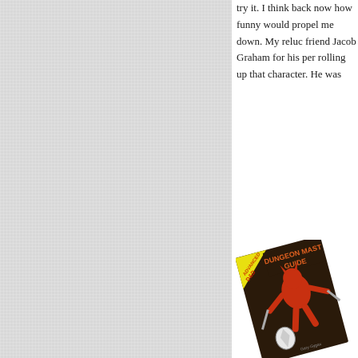try it. I think back now how funny would propel me down. My reluc friend Jacob Graham for his per rolling up that character. He was
[Figure (photo): Angled photograph of the Advanced D&D Dungeon Master's Guide book cover, showing a red demon/devil figure holding swords, with a yellow corner badge and orange title text 'DUNGEON MASTER'S GUIDE' on a dark brown background. Author Gary Gygax credited at bottom.]